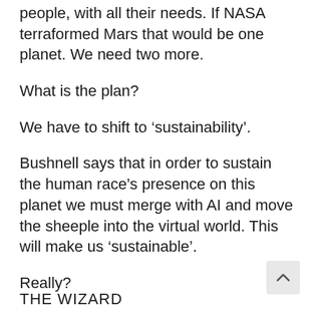people, with all their needs. If NASA terraformed Mars that would be one planet. We need two more.
What is the plan?
We have to shift to ‘sustainability’.
Bushnell says that in order to sustain the human race’s presence on this planet we must merge with AI and move the sheeple into the virtual world. This will make us ‘sustainable’.
Really?
THE WIZARD